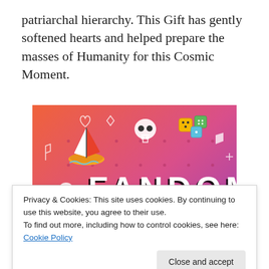patriarchal hierarchy. This Gift has gently softened hearts and helped prepare the masses of Humanity for this Cosmic Moment.
[Figure (illustration): Colorful Fandom on Tumblr promotional image with gradient orange-to-purple background, featuring large bold text 'FANDOM ON tumblr', a cartoon sailboat, skull icons, dice, music notes, arrows, and other playful doodles.]
Privacy & Cookies: This site uses cookies. By continuing to use this website, you agree to their use.
To find out more, including how to control cookies, see here: Cookie Policy
they held the sacred space for Notre Dame's unfolding